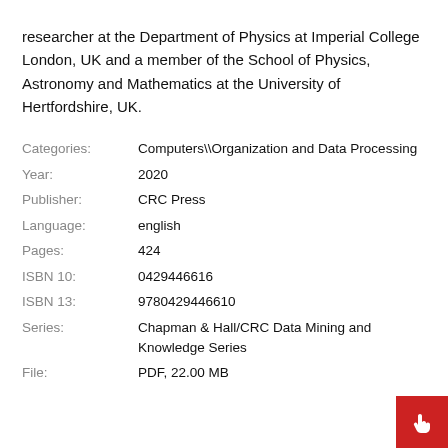researcher at the Department of Physics at Imperial College London, UK and a member of the School of Physics, Astronomy and Mathematics at the University of Hertfordshire, UK.
| Label | Value |
| --- | --- |
| Categories: | Computers\\Organization and Data Processing |
| Year: | 2020 |
| Publisher: | CRC Press |
| Language: | english |
| Pages: | 424 |
| ISBN 10: | 0429446616 |
| ISBN 13: | 9780429446610 |
| Series: | Chapman & Hall/CRC Data Mining and Knowledge Series |
| File: | PDF, 22.00 MB |